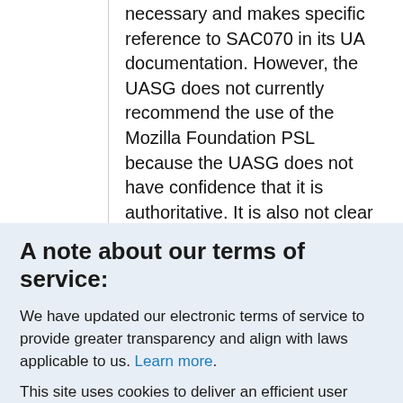necessary and makes specific reference to SAC070 in its UA documentation. However, the UASG does not currently recommend the use of the Mozilla Foundation PSL because the UASG does not have confidence that it is authoritative. It is also not clear that there would be a benefit for IANA to create and host a separate PSL as the Mozilla
A note about our terms of service:
We have updated our electronic terms of service to provide greater transparency and align with laws applicable to us. Learn more.
This site uses cookies to deliver an efficient user experience and to help us see how the site is used. Learn more. ✕ OK